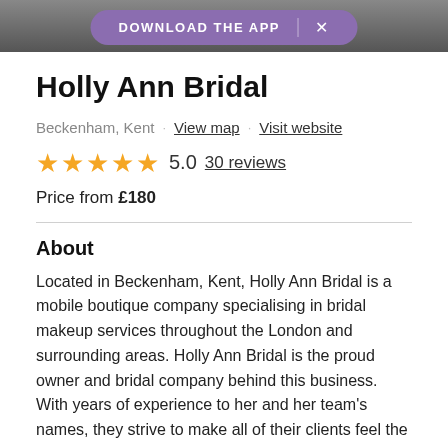DOWNLOAD THE APP ×
Holly Ann Bridal
Beckenham, Kent · View map · Visit website
★★★★★ 5.0  30 reviews
Price from £180
About
Located in Beckenham, Kent, Holly Ann Bridal is a mobile boutique company specialising in bridal makeup services throughout the London and surrounding areas. Holly Ann Bridal is the proud owner and bridal company behind this business. With years of experience to her and her team's names, they strive to make all of their clients feel the best versions of themselves.